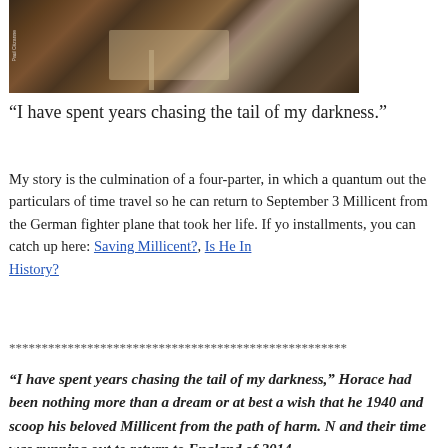[Figure (illustration): A painting (Paul Cézanne style) showing figures around a table, partially cropped at top]
“I have spent years chasing the tail of my darkness.”
My story is the culmination of a four-parter, in which a quantum... out the particulars of time travel so he can return to September 3... Millicent from the German fighter plane that took her life. If yo... installments, you can catch up here: Saving Millicent?, Is He In... History?
***************************************************
“I have spent years chasing the tail of my darkness,” Horace... had been nothing more than a dream or at best a wish that he... 1940 and scoop his beloved Millicent from the path of harm. N... and their time was running out to return to England of 2014...